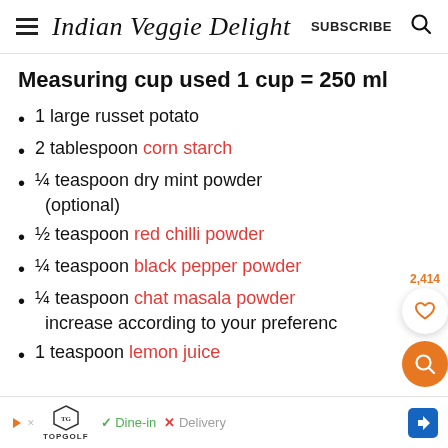Indian Veggie Delight  SUBSCRIBE
Measuring cup used 1 cup = 250 ml
1 large russet potato
2 tablespoon corn starch
¼ teaspoon dry mint powder (optional)
½ teaspoon red chilli powder
¼ teaspoon black pepper powder
¼ teaspoon chat masala powder increase according to your preference
1 teaspoon lemon juice
2,414 ♡
TOPGOLF ✓ Dine-in  ✕ Delivery